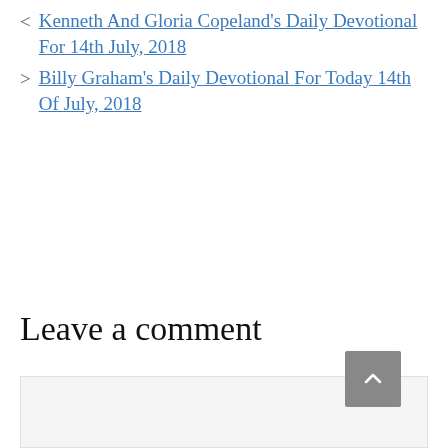< Kenneth And Gloria Copeland's Daily Devotional For 14th July, 2018
> Billy Graham's Daily Devotional For Today 14th Of July, 2018
Leave a comment